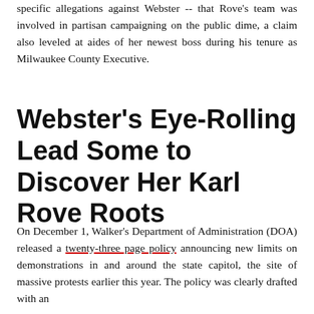specific allegations against Webster -- that Rove's team was involved in partisan campaigning on the public dime, a claim also leveled at aides of her newest boss during his tenure as Milwaukee County Executive.
Webster's Eye-Rolling Lead Some to Discover Her Karl Rove Roots
On December 1, Walker's Department of Administration (DOA) released a twenty-three page policy announcing new limits on demonstrations in and around the state capitol, the site of massive protests earlier this year. The policy was clearly drafted with an